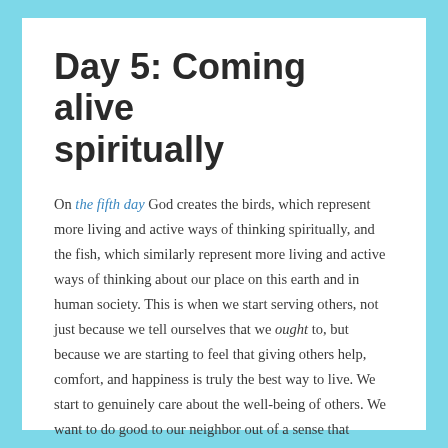Day 5: Coming alive spiritually
On the fifth day God creates the birds, which represent more living and active ways of thinking spiritually, and the fish, which similarly represent more living and active ways of thinking about our place on this earth and in human society. This is when we start serving others, not just because we tell ourselves that we ought to, but because we are starting to feel that giving others help, comfort, and happiness is truly the best way to live. We start to genuinely care about the well-being of others. We want to do good to our neighbor out of a sense that serving others is the most important thing in life.